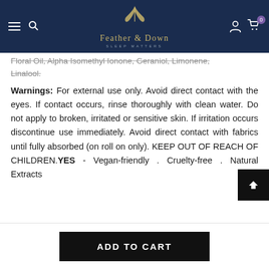Feather & Down – Sleep Matters navigation header with menu, search, account, and cart (0 items)
Floral Oil, Alpha Isomethyl Ionone, Geraniol, Limonene, Linalool.
Warnings: For external use only. Avoid direct contact with the eyes. If contact occurs, rinse thoroughly with clean water. Do not apply to broken, irritated or sensitive skin. If irritation occurs discontinue use immediately. Avoid direct contact with fabrics until fully absorbed (on roll on only). KEEP OUT OF REACH OF CHILDREN.YES - Vegan-friendly . Cruelty-free . Natural Extracts
[Figure (other): Back to top arrow button (black square with white upward chevron)]
ADD TO CART